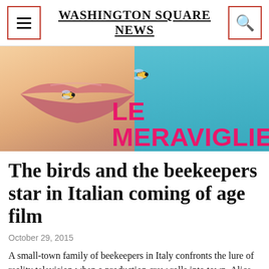Washington Square News
[Figure (photo): Close-up of lips with bees on them against a teal background, with text 'LE MERAVIGLIE' in pink/magenta — movie poster image for the Italian film 'Le Meraviglie'.]
The birds and the beekeepers star in Italian coming of age film
October 29, 2015
A small-town family of beekeepers in Italy confronts the lure of reality television when a production crew rolls into town. Alice Rohrwacher's film "The